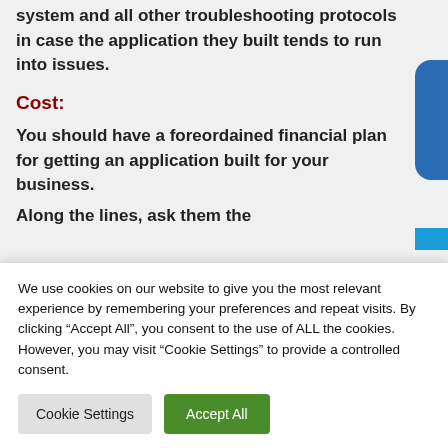mechanism, downtime handling system and all other troubleshooting protocols in case the application they built tends to run into issues.
Cost:
You should have a foreordained financial plan for getting an application built for your business. Along the lines, ask them the
We use cookies on our website to give you the most relevant experience by remembering your preferences and repeat visits. By clicking “Accept All”, you consent to the use of ALL the cookies. However, you may visit “Cookie Settings” to provide a controlled consent.